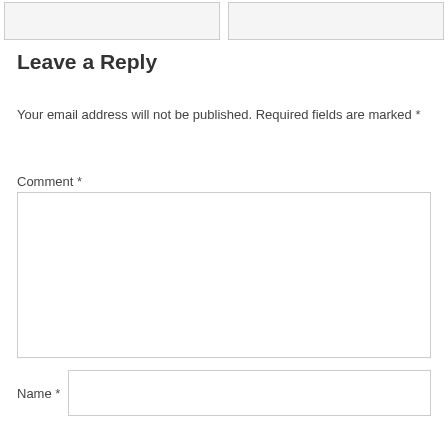[Figure (other): Two empty input field boxes at top of page]
Leave a Reply
Your email address will not be published. Required fields are marked *
Comment *
[Figure (other): Large empty comment text area input box]
Name *
[Figure (other): Name text input field]